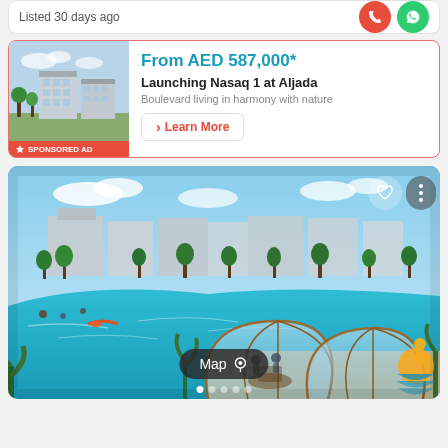Listed 30 days ago
[Figure (screenshot): Sponsored advertisement card for Nasaq 1 at Aljada real estate development. Shows property image on left, price 'From AED 587,000*', title 'Launching Nasaq 1 at Aljada', subtitle 'Boulevard living in harmony with nature', and a Learn More button. Red sponsored badge in bottom left of image.]
[Figure (photo): Large property listing photo showing a luxury development with a crystal-clear blue lagoon, transparent dome dining structures, palm trees, sandy beach areas, and modern residential buildings in the background. Heart and more options buttons visible top right. Map pill button at bottom center. Dot pagination indicators at bottom.]